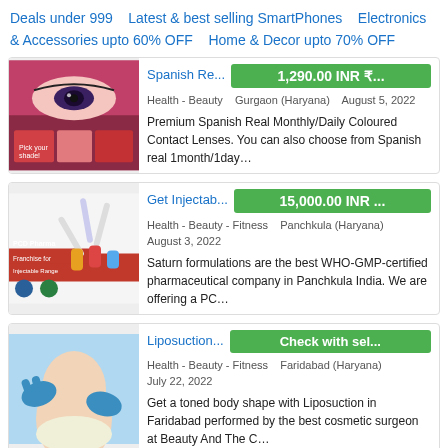Deals under 999    Latest & best selling SmartPhones    Electronics & Accessories upto 60% OFF    Home & Decor upto 70% OFF
[Figure (photo): Product photo showing coloured contact lenses and eye makeup]
Spanish Re...
1,290.00 INR ₹...
Health - Beauty    Gurgaon (Haryana)    August 5, 2022
Premium Spanish Real Monthly/Daily Coloured Contact Lenses. You can also choose from Spanish real 1month/1day...
[Figure (photo): PCD Pharma Franchise for Injectable Range product photo with syringes and vials]
Get Injectab...
15,000.00 INR ...
Health - Beauty - Fitness    Panchkula (Haryana) August 3, 2022
Saturn formulations are the best WHO-GMP-certified pharmaceutical company in Panchkula India. We are offering a PC...
[Figure (photo): Liposuction procedure photo showing a person's torso with gloved hands]
Liposuction...
Check with sel...
Health - Beauty - Fitness    Faridabad (Haryana) July 22, 2022
Get a toned body shape with Liposuction in Faridabad performed by the best cosmetic surgeon at Beauty And The C...